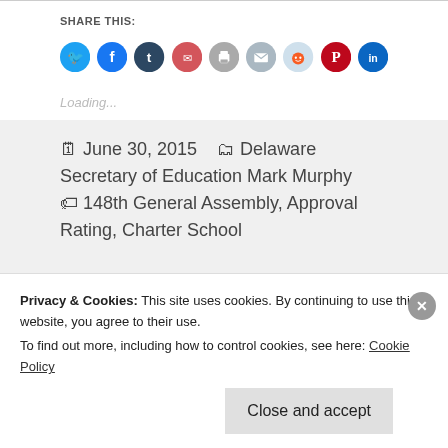SHARE THIS:
[Figure (infographic): Row of social share buttons: Twitter (blue), Facebook (blue), Tumblr (dark navy), Pocket (red), Print (gray), Email (gray), Reddit (light blue), Pinterest (red), LinkedIn (teal)]
Loading...
June 30, 2015   Delaware Secretary of Education Mark Murphy   148th General Assembly, Approval Rating, Charter School
Privacy & Cookies: This site uses cookies. By continuing to use this website, you agree to their use.
To find out more, including how to control cookies, see here: Cookie Policy
Close and accept